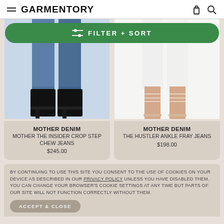GARMENTORY
[Figure (screenshot): Filter + Sort button bar, green pill-shaped button with slider icon]
[Figure (photo): Left: cropped jeans with black ankle boots on model legs]
[Figure (photo): Right: white wide-leg jeans with strappy sandals on model legs]
MOTHER DENIM
MOTHER THE INSIDER CROP STEP CHEW JEANS
$245.00
MOTHER DENIM
THE HUSTLER ANKLE FRAY JEANS
$198.00
BY CONTINUING TO USE THIS SITE YOU CONSENT TO THE USE OF COOKIES ON YOUR DEVICE AS DESCRIBED IN OUR PRIVACY POLICY UNLESS YOU HAVE DISABLED THEM. YOU CAN CHANGE YOUR BROWSER'S COOKIE SETTINGS AT ANY TIME BUT PARTS OF OUR SITE WILL NOT FUNCTION CORRECTLY WITHOUT THEM.
ACCEPT & CLOSE